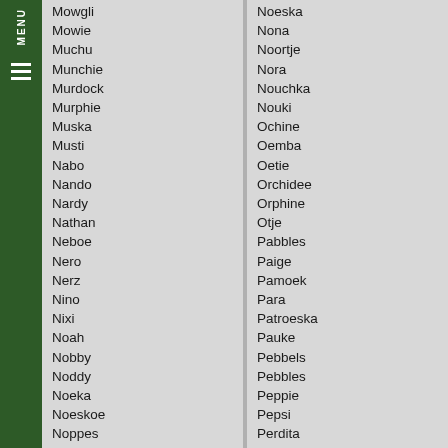Mowgli
Mowie
Muchu
Munchie
Murdock
Murphie
Muska
Musti
Nabo
Nando
Nardy
Nathan
Neboe
Nero
Nerz
Nino
Nixi
Noah
Nobby
Noddy
Noeka
Noeskoe
Noppes
Nox
Nutak
Obi
Oggi
Olivier
Oneill
Onix
Noeska
Nona
Noortje
Nora
Nouchka
Nouki
Ochine
Oemba
Oetie
Orchidee
Orphine
Otje
Pabbles
Paige
Pamoek
Para
Patroeska
Pauke
Pebbels
Pebbles
Peppie
Pepsi
Perdita
Pero
Phoebe
Pickels
Piper
Pipke
Pita
Pitty